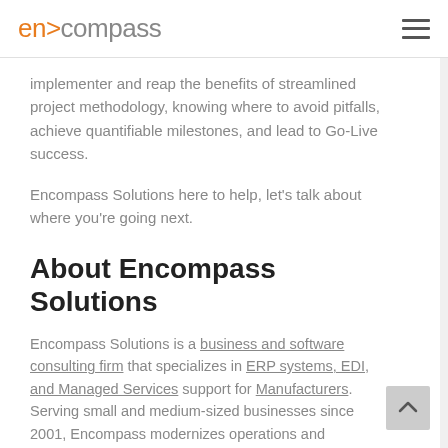en>compass
implementer and reap the benefits of streamlined project methodology, knowing where to avoid pitfalls, achieve quantifiable milestones, and lead to Go-Live success.
Encompass Solutions here to help, let's talk about where you're going next.
About Encompass Solutions
Encompass Solutions is a business and software consulting firm that specializes in ERP systems, EDI, and Managed Services support for Manufacturers. Serving small and medium-sized businesses since 2001, Encompass modernizes operations and automates processes for hundreds of customers across the c… Whether undertaking full-scale implementation, integrati… renovation of existing systems, Encompass provides a specialized